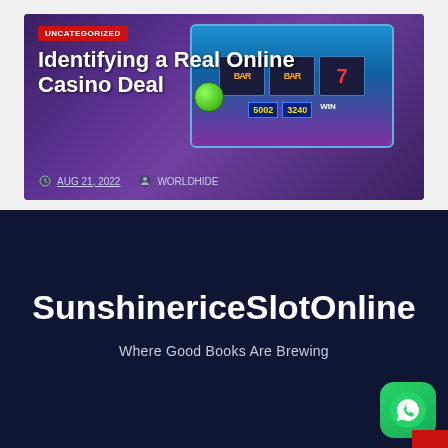[Figure (screenshot): Blog post card with slot machine image background, red UNCATEGORIZED badge, white title text 'Identifying a Real Online Casino Deal', date 'AUG 21, 2022', and author 'WORLDHIDE']
Identifying a Real Online Casino Deal
AUG 21, 2022  WORLDHIDE
SunshinericeSlotOnline
Where Good Books Are Brewing